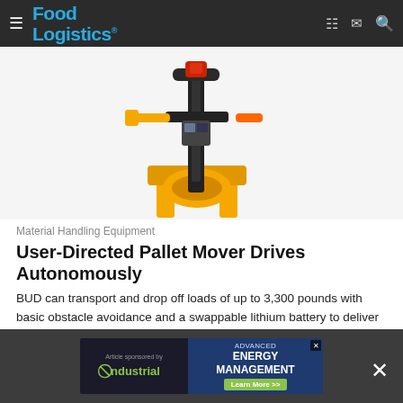Food Logistics
[Figure (photo): Electric pallet mover/forklift with yellow base, black mast, red controls at top, and yellow side handle attachment visible from front-top angle on white background]
Material Handling Equipment
User-Directed Pallet Mover Drives Autonomously
BUD can transport and drop off loads of up to 3,300 pounds with basic obstacle avoidance and a swappable lithium battery to deliver exceptional operational flexibility.
Big Joe Forklifts
April 3, 2022
[Figure (infographic): Article sponsored by ndustrial - ADVANCED ENERGY MANAGEMENT advertisement banner with Learn More button]